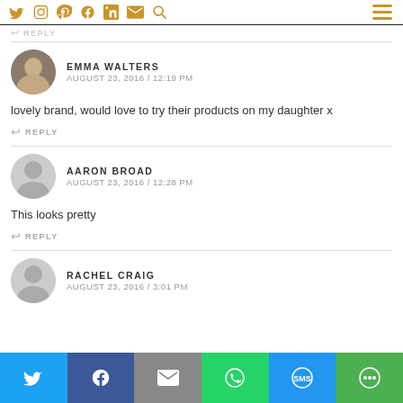REPLY (partial, top)
EMMA WALTERS
AUGUST 23, 2016 / 12:19 PM
lovely brand, would love to try their products on my daughter x
REPLY
AARON BROAD
AUGUST 23, 2016 / 12:28 PM
This looks pretty
REPLY
RACHEL CRAIG
AUGUST 23, 2016 / 3:01 PM (partial)
Twitter | Facebook | Email | WhatsApp | SMS | Share